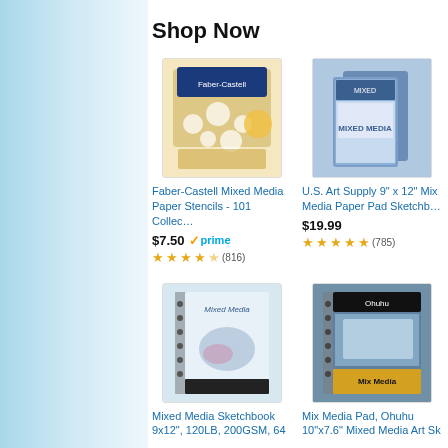Shop Now
[Figure (photo): Faber-Castell Mixed Media Paper Stencils product image]
Faber-Castell Mixed Media Paper Stencils - 101 Collec…
$7.50 prime (816 reviews, ~3.5 stars)
[Figure (photo): U.S. Art Supply 9" x 12" Mixed Media Paper Pad Sketchbook product image]
U.S. Art Supply 9" x 12" Mixed Media Paper Pad Sketchb…
$19.99 (785 reviews, ~4.5 stars)
[Figure (photo): Mixed Media Sketchbook 9x12", 120LB, 200GSM, 64 product image]
Mixed Media Sketchbook 9x12", 120LB, 200GSM, 64
[Figure (photo): Mix Media Pad, Ohuhu 10"x7.6" Mixed Media Art Sk product image]
Mix Media Pad, Ohuhu 10"x7.6" Mixed Media Art Sk